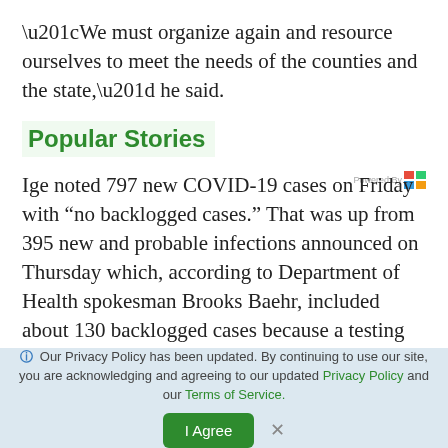“We must organize again and resource ourselves to meet the needs of the counties and the state,” he said.
Popular Stories
Ige noted 797 new COVID-19 cases on Friday with “no backlogged cases.” That was up from 395 new and probable infections announced on Thursday which, according to Department of Health spokesman Brooks Baehr, included about 130 backlogged cases because a testing provider “experienced an interruption with the electronic laboratory reporting system.”
ⓘ Our Privacy Policy has been updated. By continuing to use our site, you are acknowledging and agreeing to our updated Privacy Policy and our Terms of Service.